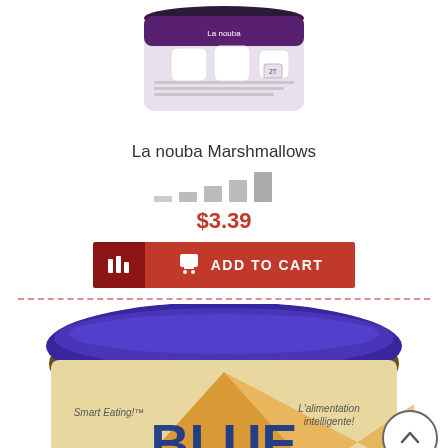[Figure (photo): La nouba Marshmallows product bag with white marshmallows visible]
La nouba Marshmallows
[Figure (infographic): Rating bar chart (gray bars, 5-bar signal-strength style rating indicator)]
$3.39
[Figure (infographic): Add to Cart button with quantity icon on dark red and cart icon with ADD TO CART text on red]
[Figure (photo): Blue brand tub with purple lid, Smart Eating / L'alimentation intelligente label, BLUE text visible at bottom]